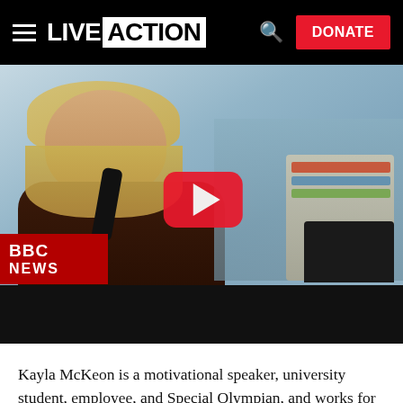LIVE ACTION | DONATE
[Figure (photo): BBC News video thumbnail showing a young woman with Down syndrome talking on a phone at a desk, with a YouTube play button overlay. BBC NEWS logo in bottom-left corner.]
Kayla McKeon is a motivational speaker, university student, employee, and Special Olympian, and works for the National Down Syndrome Society as the